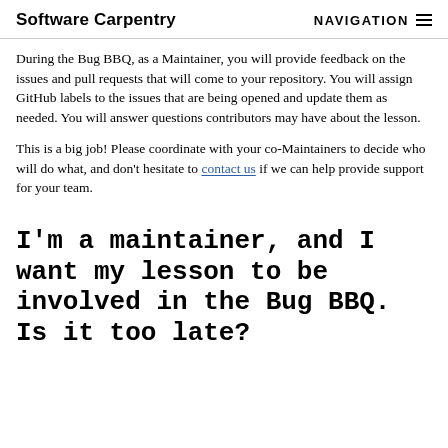Software Carpentry  NAVIGATION
During the Bug BBQ, as a Maintainer, you will provide feedback on the issues and pull requests that will come to your repository. You will assign GitHub labels to the issues that are being opened and update them as needed. You will answer questions contributors may have about the lesson.
This is a big job! Please coordinate with your co-Maintainers to decide who will do what, and don't hesitate to contact us if we can help provide support for your team.
I'm a maintainer, and I want my lesson to be involved in the Bug BBQ. Is it too late?